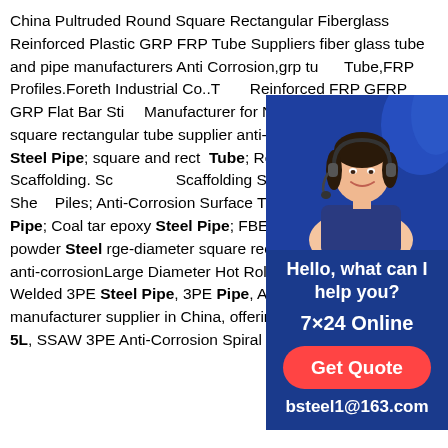China Pultruded Round Square Rectangular Fiberglass Reinforced Plastic GRP FRP Tube Suppliers fiber glass tube and pipe manufacturers Anti Corrosion,grp tube, Tube,FRP Profiles.Foreth Industrial Co..T Reinforced FRP GFRP GRP Flat Bar Sti Manufacturer for N80 Steel Casing Pipe square rectangular tube supplier anti-cor Galvanized Steel Pipe; square and recta Tube; Rectangular Tube; Scaffolding. Sc Scaffolding System; Sheet pile. Cold She Piles; Anti-Corrosion Surface Treatment. coating Steel Pipe; Coal tar epoxy Steel Pipe; FBE anti-corrosive epoxy powder Steel rge-diameter square rectangular tube supplier anti-corrosionLarge Diameter Hot Rolled LSAW Carbon Spiral Welded 3PE Steel Pipe, 3PE Pipe, Anticorrosive Steel Pipe manufacturer supplier in China, offering Large Diameter API 5L SSAW 3PE Anti-Corrosion Spiral Welded Steel Pipe for
[Figure (other): Chat widget / customer service popup with a photo of a smiling woman wearing a headset on a dark blue background, with text 'Hello, what can I help you?', '7x24 Online', 'Get Quote' button, and email 'bsteel1@163.com']